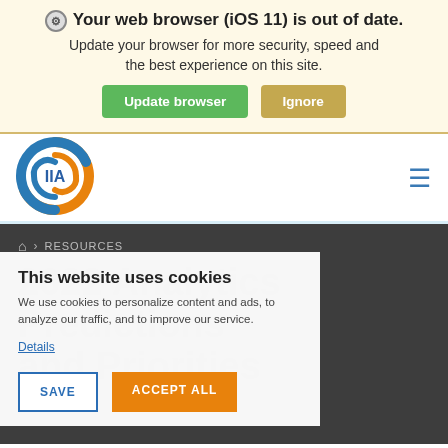Your web browser (iOS 11) is out of date. Update your browser for more security, speed and the best experience on this site.
[Figure (logo): IIA logo - circular emblem with blue and orange swirling shapes and 'IIA' text in center]
RESOURCES
2022 Analytics Predictions and Priorities
This website uses cookies
We use cookies to personalize content and ads, to analyze our traffic, and to improve our service.
Details
SAVE
ACCEPT ALL